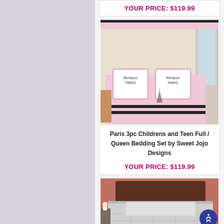YOUR PRICE: $119.99
[Figure (photo): Paris themed children's and teen full/queen bedding set with pink, black and white design featuring Eiffel Tower motif, shown on a bed in a decorated room]
Paris 3pc Childrens and Teen Full / Queen Bedding Set by Sweet Jojo Designs
YOUR PRICE: $119.99
[Figure (photo): Gray diamond pattern full/queen bedding set shown on a bed with dark wood headboard]